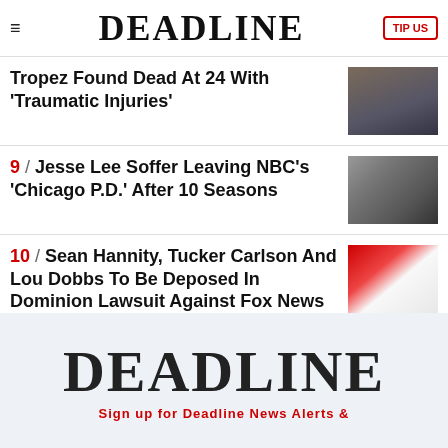DEADLINE
Tropez Found Dead At 24 With 'Traumatic Injuries'
9 / Jesse Lee Soffer Leaving NBC's 'Chicago P.D.' After 10 Seasons
10 / Sean Hannity, Tucker Carlson And Lou Dobbs To Be Deposed In Dominion Lawsuit Against Fox News
[Figure (logo): DEADLINE logo in large serif font on light blue background, with partial red text below]